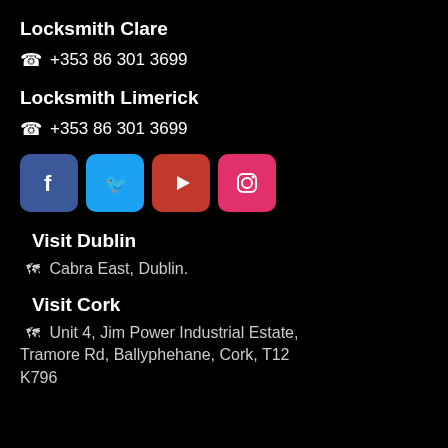Locksmith Clare
☎ +353 86 301 3699
Locksmith Limerick
☎ +353 86 301 3699
[Figure (illustration): Social media icons: Facebook, Twitter, YouTube, Instagram]
Visit Dublin
Cabra East, Dublin.
Visit Cork
Unit 4, Jim Power Industrial Estate, Tramore Rd, Ballyphehane, Cork, T12 K796